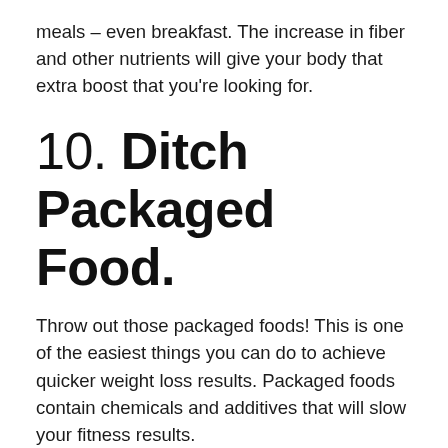meals – even breakfast. The increase in fiber and other nutrients will give your body that extra boost that you're looking for.
10. Ditch Packaged Food.
Throw out those packaged foods! This is one of the easiest things you can do to achieve quicker weight loss results. Packaged foods contain chemicals and additives that will slow your fitness results.